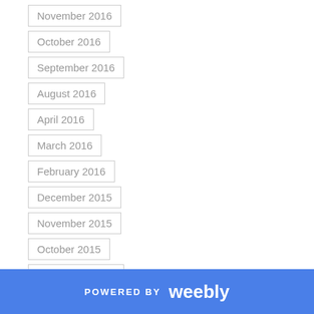November 2016
October 2016
September 2016
August 2016
April 2016
March 2016
February 2016
December 2015
November 2015
October 2015
September 2015
August 2015
June 2015
POWERED BY weebly